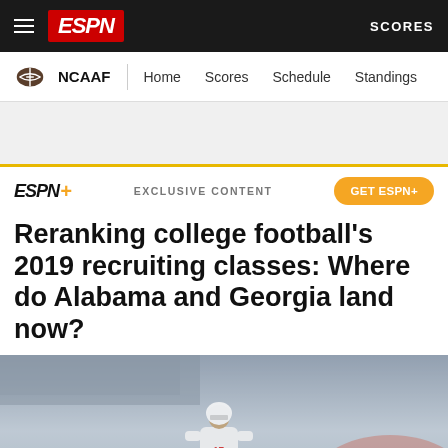ESPN | NCAAF | Home | Scores | Schedule | Standings | SCORES
ESPN+ EXCLUSIVE CONTENT GET ESPN+
Reranking college football's 2019 recruiting classes: Where do Alabama and Georgia land now?
[Figure (photo): Football player wearing jersey number 17 in white uniform, standing in a stadium environment with atmospheric haze]